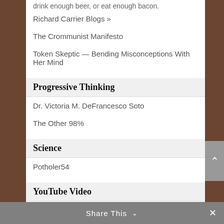drink enough beer, or eat enough bacon.
Richard Carrier Blogs »
The Crommunist Manifesto
Token Skeptic — Bending Misconceptions With Her Mind
Progressive Thinking
Dr. Victoria M. DeFrancesco Soto
The Other 98%
Science
Potholer54
YouTube Video
Potholer54
Share This ∨  ✕